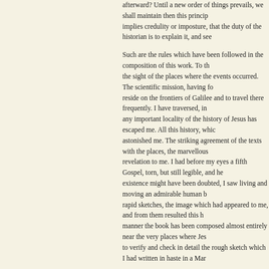afterward? Until a new order of things prevails, we shall maintain then this princip implies credulity or imposture, that the duty of the historian is to explain it, and see
Such are the rules which have been followed in the composition of this work. To th the sight of the places where the events occurred. The scientific mission, having fo reside on the frontiers of Galilee and to travel there frequently. I have traversed, in any important locality of the history of Jesus has escaped me. All this history, whic astonished me. The striking agreement of the texts with the places, the marvellous revelation to me. I had before my eyes a fifth Gospel, torn, but still legible, and he existence might have been doubted, I saw living and moving an admirable human b rapid sketches, the image which had appeared to me, and from them resulted this h manner the book has been composed almost entirely near the very places where Jes to verify and check in detail the rough sketch which I had written in haste in a Mar
[Footnote 1: The work which will contain the results of this mission is in the press.
Many will regret, perhaps, the biographical form which my work has thus taken. W in fact, a history of doctrines, in which men and their actions would have hardly ha ideas which have grown under his name took root and covered the world. But I hav It was not a certain theory on justification and redemption which brought about the have combined under every form; the doctrines of the Resurrection and of the Wor fact, called Christianity. This fact is the work of Jesus, of St. Paul, of St. John. To v The anterior movements belong to our subject only in so far as they serve to throw that which preceded them.
I and by efforts to check the contents of the sentimental rations and sense of dis